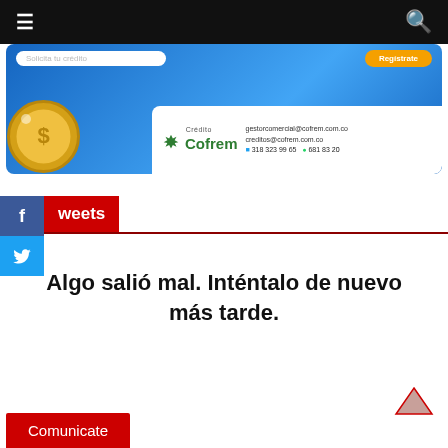≡  [site navigation bar with hamburger menu and search icon]
[Figure (photo): Advertisement banner for Crédito Cofrem with blue gradient background, a gold coin on the left, and a white info box showing logos and contact details: gestorcomercial@cofrem.com.co, creditos@cofrem.com.co, 318 323 99 65, 681 83 20]
Tweets
Algo salió mal. Inténtalo de nuevo más tarde.
Comunicate